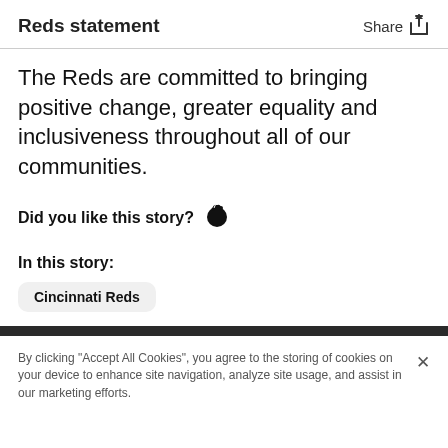Reds statement
The Reds are committed to bringing positive change, greater equality and inclusiveness throughout all of our communities.
Did you like this story? 👏
In this story:
Cincinnati Reds
By clicking "Accept All Cookies", you agree to the storing of cookies on your device to enhance site navigation, analyze site usage, and assist in our marketing efforts.